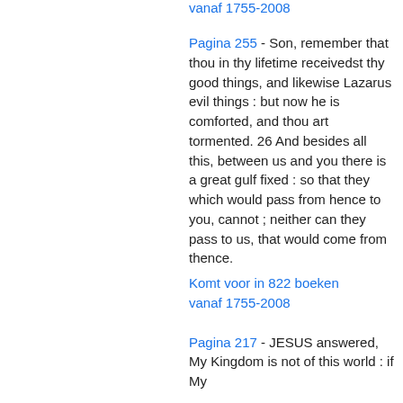vanaf 1755-2008
Pagina 255 - Son, remember that thou in thy lifetime receivedst thy good things, and likewise Lazarus evil things : but now he is comforted, and thou art tormented. 26 And besides all this, between us and you there is a great gulf fixed : so that they which would pass from hence to you, cannot ; neither can they pass to us, that would come from thence.
Komt voor in 822 boeken vanaf 1755-2008
Pagina 217 - JESUS answered, My Kingdom is not of this world : if My